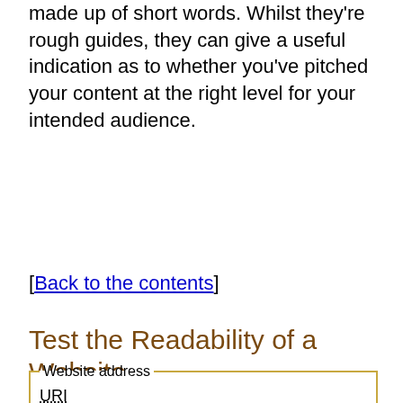made up of short words. Whilst they're rough guides, they can give a useful indication as to whether you've pitched your content at the right level for your intended audience.
[Back to the contents]
Test the Readability of a Website
[Figure (screenshot): A web form with a fieldset labeled 'Website address' containing a URI input field pre-filled with 'http://weblymedia.co.uk' and a 'Calculate Readability' button.]